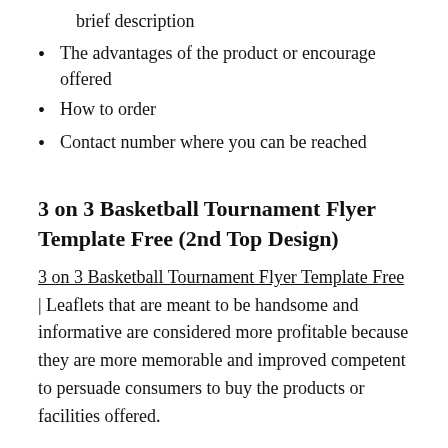brief description
The advantages of the product or encourage offered
How to order
Contact number where you can be reached
3 on 3 Basketball Tournament Flyer Template Free (2nd Top Design)
3 on 3 Basketball Tournament Flyer Template Free | Leaflets that are meant to be handsome and informative are considered more profitable because they are more memorable and improved competent to persuade consumers to buy the products or facilities offered.
Its size is relatively small and energetic for that reason that it is simple to carry and store, and its